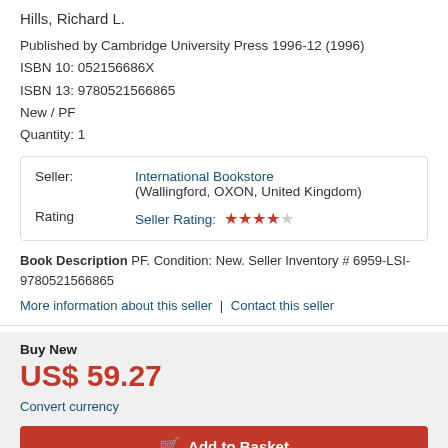Hills, Richard L.
Published by Cambridge University Press 1996-12 (1996)
ISBN 10: 052156686X
ISBN 13: 9780521566865
New / PF
Quantity: 1
|  |  |
| --- | --- |
| Seller: | International Bookstore (Wallingford, OXON, United Kingdom) |
| Rating | Seller Rating: ★★★★☆ |
Book Description PF. Condition: New. Seller Inventory # 6959-LSI-9780521566865
More information about this seller | Contact this seller
Buy New
US$ 59.27
Convert currency
Add to Basket